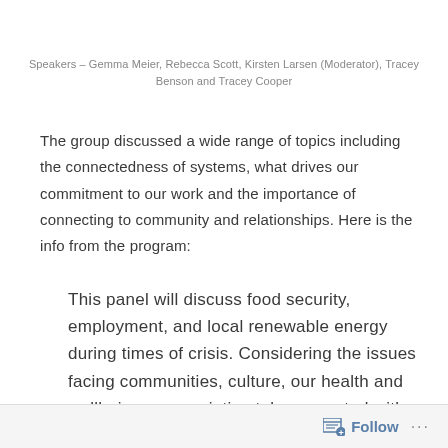Speakers – Gemma Meier, Rebecca Scott, Kirsten Larsen (Moderator), Tracey Benson and Tracey Cooper
The group discussed a wide range of topics including the connectedness of systems, what drives our commitment to our work and the importance of connecting to community and relationships. Here is the info from the program:
This panel will discuss food security, employment, and local renewable energy during times of crisis. Considering the issues facing communities, culture, our health and wellbeing; we are intimately connected with the natural systems of our
Follow ...